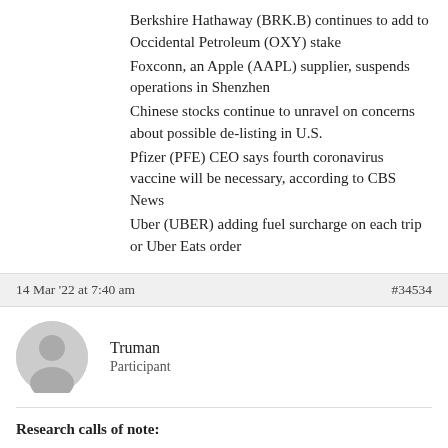Berkshire Hathaway (BRK.B) continues to add to Occidental Petroleum (OXY) stake
Foxconn, an Apple (AAPL) supplier, suspends operations in Shenzhen
Chinese stocks continue to unravel on concerns about possible de-listing in U.S.
Pfizer (PFE) CEO says fourth coronavirus vaccine will be necessary, according to CBS News
Uber (UBER) adding fuel surcharge on each trip or Uber Eats order
14 Mar '22 at 7:40 am    #34534
Truman
Participant
Research calls of note:
Upgrades: UL, DB, ENVA, FTV, NOK
Downgrades: OXY, TSN, AEP, CVX, IPG, OMC
14 Mar '22 at 7:41 am    #34535